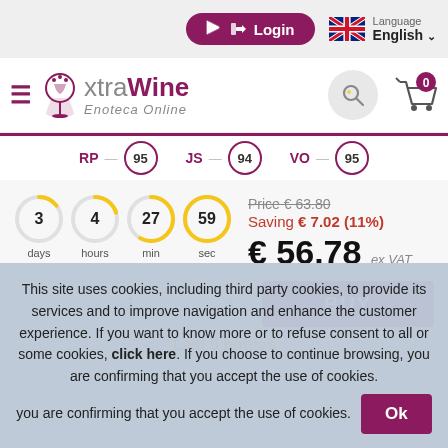Login | Language English
[Figure (logo): xtraWine Enoteca Online logo with hamburger menu]
RP 95  JS 94  VO 95
3 days  4 hours  27 min  59 sec  Price € 63.80  Saving € 7.02 (11%)  € 56.78 ex VAT
- 1 +  BUY
Last 5 bottles
This site uses cookies, including third party cookies, to provide its services and to improve navigation and enhance the customer experience. If you want to know more or to refuse consent to all or some cookies, click here. If you choose to continue browsing, you are confirming that you accept the use of cookies.  Ok